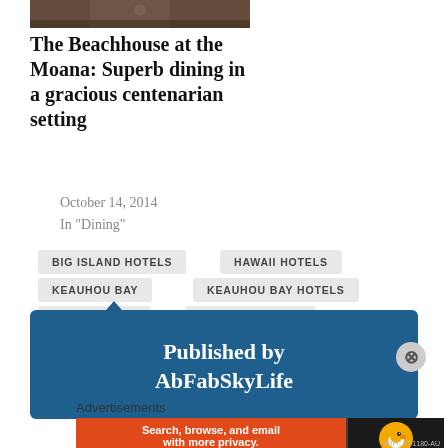[Figure (photo): Partial photo strip of restaurant/dining scene at top]
The Beachhouse at the Moana: Superb dining in a gracious centenarian setting
October 14, 2014
In "Dining"
BIG ISLAND HOTELS
HAWAII HOTELS
KEAUHOU BAY
KEAUHOU BAY HOTELS
KONA HOTELS
SHERATON KONA
Published by AbFabSkyLife
Advertisements
[Figure (screenshot): DuckDuckGo advertisement banner: Search, browse, and email with more privacy. All in One Free App]